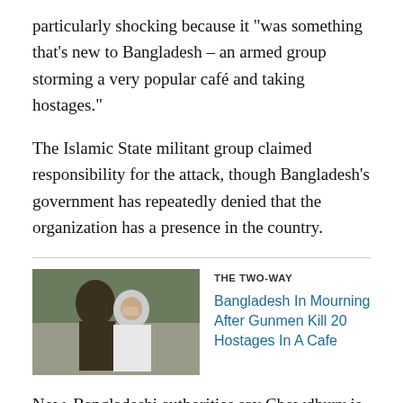particularly shocking because it "was something that's new to Bangladesh – an armed group storming a very popular café and taking hostages."
The Islamic State militant group claimed responsibility for the attack, though Bangladesh's government has repeatedly denied that the organization has a presence in the country.
[Figure (photo): Photo of people mourning, a woman in white clothing covering her face]
THE TWO-WAY
Bangladesh In Mourning After Gunmen Kill 20 Hostages In A Cafe
Now, Bangladeshi authorities say Chowdhury is "a leader of Jamaat-ul-Mujahideen Bangladesh, a new branch of the domestic terrorism outfit that produced the café attackers and is affiliated with the Islamic State," as The Washington Post